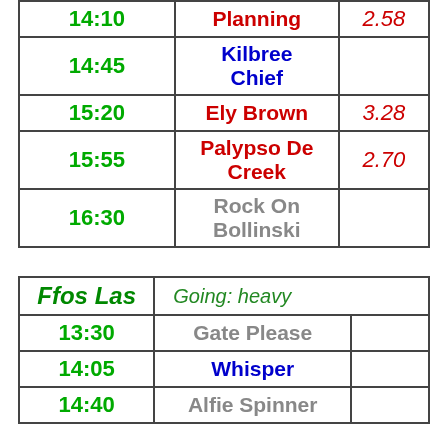| Time | Horse | Odds |
| --- | --- | --- |
| 14:10 | Planning | 2.58 |
| 14:45 | Kilbree Chief |  |
| 15:20 | Ely Brown | 3.28 |
| 15:55 | Palypso De Creek | 2.70 |
| 16:30 | Rock On Bollinski |  |
| Venue | Going |  |
| --- | --- | --- |
| Ffos Las | Going:  heavy |  |
| 13:30 | Gate Please |  |
| 14:05 | Whisper |  |
| 14:40 | Alfie Spinner |  |